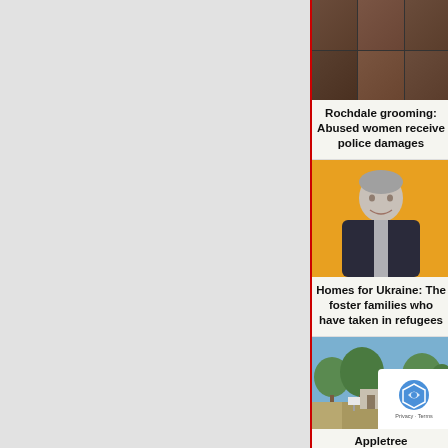[Figure (photo): Left panel showing grey/light background area, partially visible webpage content]
[Figure (photo): Grid of 6 mugshot-style photos of men, related to Rochdale grooming case]
Rochdale grooming: Abused women receive police damages
[Figure (photo): Man with grey hair smiling against yellow background]
Homes for Ukraine: The foster families who have taken in refugees
[Figure (photo): Appletree Treatment Centre building exterior with trees]
Appletree Treatment Centre